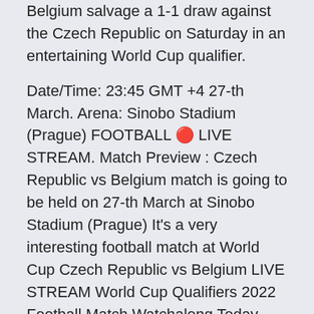Belgium salvage a 1-1 draw against the Czech Republic on Saturday in an entertaining World Cup qualifier.
Date/Time: 23:45 GMT +4 27-th March. Arena: Sinobo Stadium (Prague) FOOTBALL 🔴 LIVE STREAM. Match Preview : Czech Republic vs Belgium match is going to be held on 27-th March at Sinobo Stadium (Prague) It's a very interesting football match at World Cup Czech Republic vs Belgium LIVE STREAM World Cup Qualifiers 2022 Football Match Watchalong Today - Join Jamzor live streaming world cup qualifiers Czechia vs Find out how to watch a Euro 2020 live stream for free and enjoy the biggest football event of the year, wherever you are in the world. plus England vs Czech Republic, Scotland vs Croatia and England vs. Croatia ESPN, fubo TV, Sling Orange, Hulu + Live TV, Vidgo, PrendeTV 12:00 pm EDT Austria vs. North Macedonia ESPN, fubo